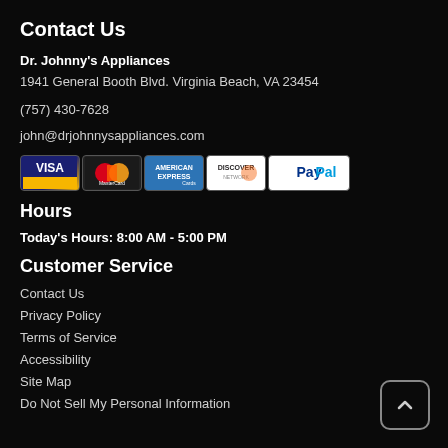Contact Us
Dr. Johnny's Appliances
1941 General Booth Blvd.
Virginia Beach, VA 23454
(757) 430-7628
john@drjohnnysappliances.com
[Figure (logo): Payment method icons: VISA, MasterCard, American Express, Discover, PayPal]
Hours
Today's Hours: 8:00 AM - 5:00 PM
Customer Service
Contact Us
Privacy Policy
Terms of Service
Accessibility
Site Map
Do Not Sell My Personal Information